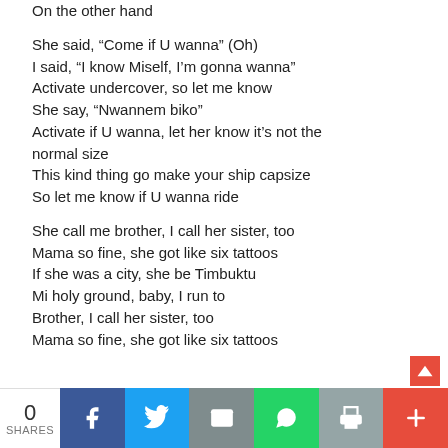On the other hand

She said, “Come if U wanna” (Oh)
I said, “I know Miself, I’m gonna wanna”
Activate undercover, so let me know
She say, “Nwannem biko”
Activate if U wanna, let her know it’s not the normal size
This kind thing go make your ship capsize
So let me know if U wanna ride

She call me brother, I call her sister, too
Mama so fine, she got like six tattoos
If she was a city, she be Timbuktu
Mi holy ground, baby, I run to
Brother, I call her sister, too
Mama so fine, she got like six tattoos
0 SHARES | Facebook | Twitter | Email | WhatsApp | Print | More